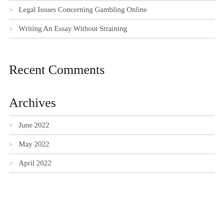Legal Issues Concerning Gambling Online
Writing An Essay Without Straining
Recent Comments
Archives
June 2022
May 2022
April 2022